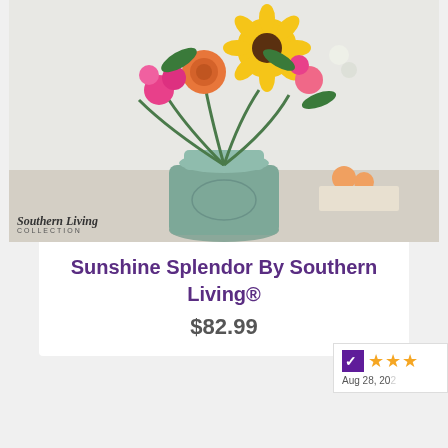[Figure (photo): Flower arrangement with sunflowers, orange roses, pink flowers in a light blue vintage milk can vase. Southern Living Collection badge visible in bottom left corner of image.]
Sunshine Splendor By Southern Living®
$82.99
[Figure (photo): Flower arrangement with peach roses, coral carnations, yellow alstroemeria, red hypericum berries in a pink diamond-cut vase. A rating badge showing Yahoo Shopping stars and date Aug 28, 20... is partially visible on right.]